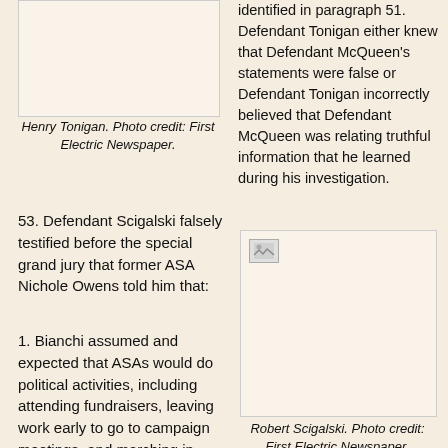[Figure (photo): Photo of Henry Tonigan]
Henry Tonigan. Photo credit: First Electric Newspaper.
identified in paragraph 51. Defendant Tonigan either knew that Defendant McQueen's statements were false or Defendant Tonigan incorrectly believed that Defendant McQueen was relating truthful information that he learned during his investigation.
53. Defendant Scigalski falsely testified before the special grand jury that former ASA Nichole Owens told him that:
1. Bianchi assumed and expected that ASAs would do political activities, including attending fundraisers, leaving work early to go to campaign meetings, and marching in parades, for which they
[Figure (photo): Photo of Robert Scigalski]
Robert Scigalski. Photo credit: First Electric Newspaper.